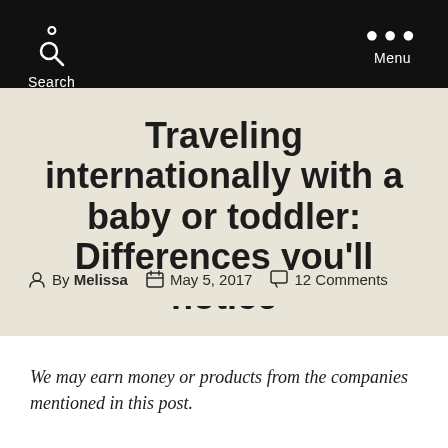Search    Menu
Traveling internationally with a baby or toddler: Differences you'll notice
By Melissa   May 5, 2017   12 Comments
We may earn money or products from the companies mentioned in this post.